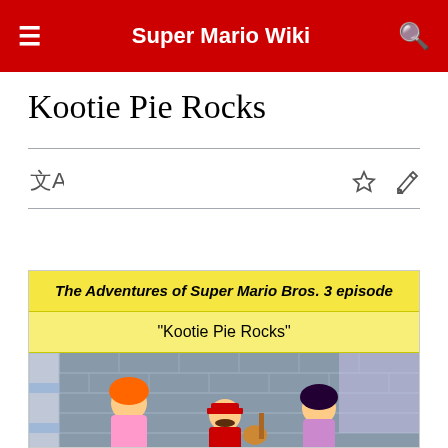Super Mario Wiki
Kootie Pie Rocks
| The Adventures of Super Mario Bros. 3 episode |
| --- |
| "Kootie Pie Rocks" |
[Figure (photo): Screenshot from The Adventures of Super Mario Bros. 3 episode 'Kootie Pie Rocks' showing animated characters including Mario playing guitar and other characters on a checkered floor stage with stone wall background.]